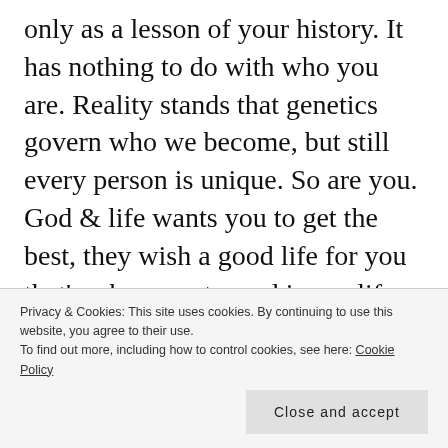only as a lesson of your history. It has nothing to do with who you are. Reality stands that genetics govern who we become, but still every person is unique. So are you. God & life wants you to get the best, they wish a good life for you that's why you stepped in my life as my savior.

We will surely talk about all the things that I have written and also those that I have missed
Privacy & Cookies: This site uses cookies. By continuing to use this website, you agree to their use.
To find out more, including how to control cookies, see here: Cookie Policy
best remembered only at the time of filling up